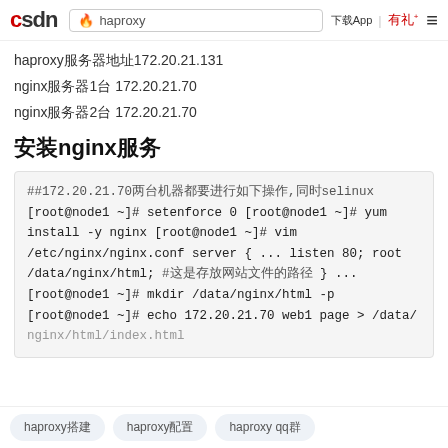CSDN  haproxy  下载App | 有礼 ≡
haproxy服务器地址172.20.21.131
nginx服务器1台 172.20.21.70
nginx服务器2台 172.20.21.70
安装nginx服务
##172.20.21.70两台机器都要进行如下操作,同时selinux
[root@node1 ~]# setenforce 0
[root@node1 ~]# yum install -y nginx
[root@node1 ~]# vim /etc/nginx/nginx.conf
    server {
...
        listen        80;
        root          /data/nginx/html; #这是存放网站文件的路径
    }
...
[root@node1 ~]# mkdir /data/nginx/html -p
[root@node1 ~]# echo 172.20.21.70 web1 page > /data/
nginx/html/index.html
haproxy搭建  haproxy配置  haproxy qq群